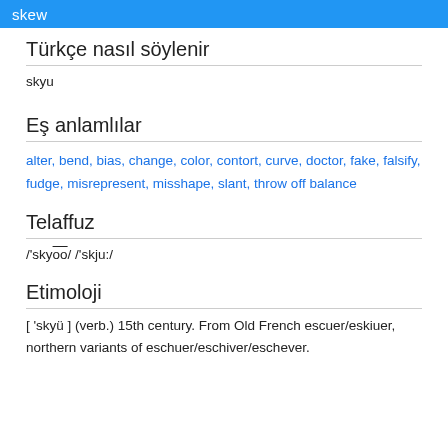skew
Türkçe nasıl söylenir
skyu
Eş anlamlılar
alter, bend, bias, change, color, contort, curve, doctor, fake, falsify, fudge, misrepresent, misshape, slant, throw off balance
Telaffuz
/'skyoo/ /'skju:/
Etimoloji
[ 'skyü ] (verb.) 15th century. From Old French escuer/eskiuer, northern variants of eschuer/eschiver/eschever.